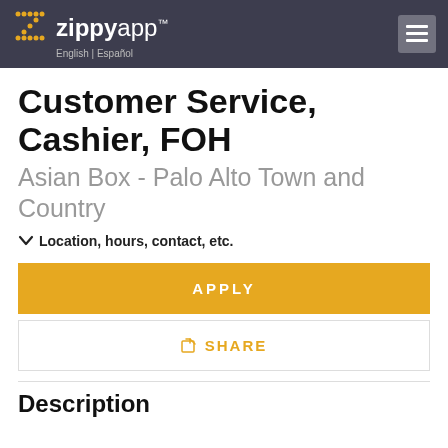ZippyApp™  English | Español
Customer Service, Cashier, FOH
Asian Box - Palo Alto Town and Country
Location, hours, contact, etc.
APPLY
SHARE
Description